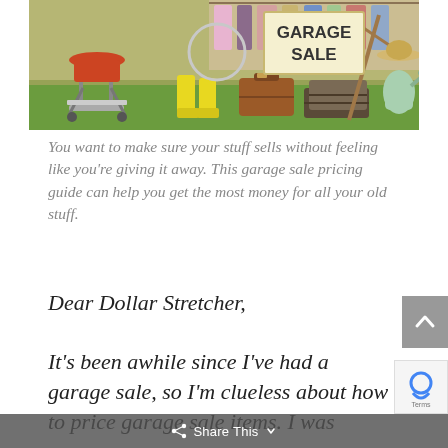[Figure (photo): A garage sale scene outdoors on grass. Items include a BBQ grill, yellow rain boots, a brown suitcase, vintage luggage, a watering can, a straw hat, and a large 'GARAGE SALE' sign. Clothes hang in the background on a rack.]
You want to make sure your stuff sells without feeling like you're giving it away. This garage sale pricing guide can help you get the most money for all your old stuff.
Dear Dollar Stretcher, It's been awhile since I've had a garage sale, so I'm clueless about how to price garage sale items. I was
Share This